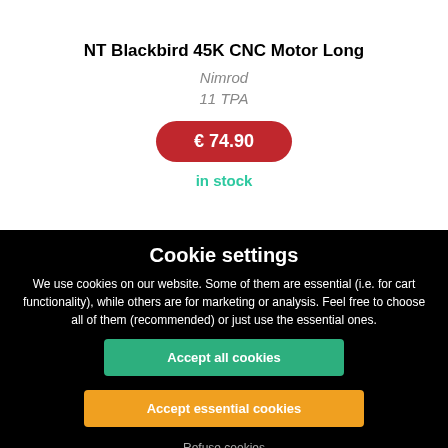NT Blackbird 45K CNC Motor Long
Nimrod
11 TPA
€ 74.90
in stock
Cookie settings
We use cookies on our website. Some of them are essential (i.e. for cart functionality), while others are for marketing or analysis. Feel free to choose all of them (recommended) or just use the essential ones.
Accept all cookies
Accept essential cookies
Refuse cookies